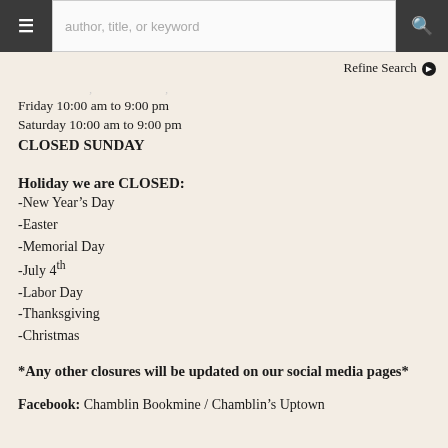≡  author, title, or keyword  🔍
Refine Search ❯
Friday 10:00 am to 9:00 pm
Saturday 10:00 am to 9:00 pm
CLOSED SUNDAY
Holiday we are CLOSED:
-New Year's Day
-Easter
-Memorial Day
-July 4th
-Labor Day
-Thanksgiving
-Christmas
*Any other closures will be updated on our social media pages*
Facebook: Chamblin Bookmine / Chamblin's Uptown